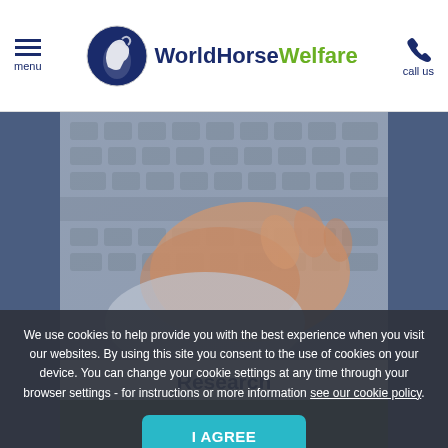menu | WorldHorseWelfare | call us
[Figure (photo): A hand pressing keys on a machine/keyboard, close-up shot with blurred background]
Research
We believe in using scientific evidence to help guide our work.
We use cookies to help provide you with the best experience when you visit our websites. By using this site you consent to the use of cookies on your device. You can change your cookie settings at any time through your browser settings - for instructions or more information see our cookie policy.
I AGREE